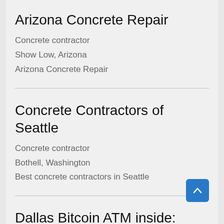Arizona Concrete Repair
Concrete contractor
Show Low, Arizona
Arizona Concrete Repair
Concrete Contractors of Seattle
Concrete contractor
Bothell, Washington
Best concrete contractors in Seattle
Dallas Bitcoin ATM inside: Valero Gas Station